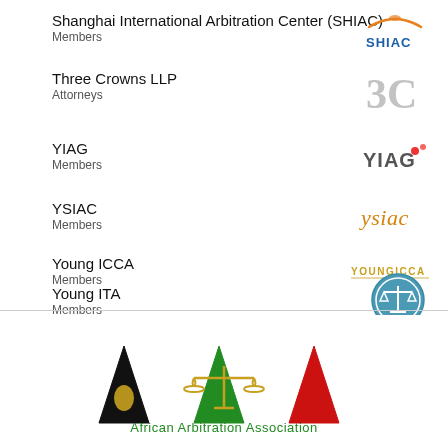Shanghai International Arbitration Center (SHIAC)
Members
[Figure (logo): SHIAC logo with orange arc above letters]
Three Crowns LLP
Attorneys
[Figure (logo): Three Crowns LLP logo: stylized 3C in grey]
YIAG
Members
[Figure (logo): YIAG logo text with small red dots]
YSIAC
Members
[Figure (logo): YSIAC logo in orange italic script]
Young ICCA
Members
[Figure (logo): Young ICCA logo in gold/orange text]
Young ITA
Members
[Figure (logo): Young ITA logo: teal circle with scales of justice, YOUNG ITA text below]
[Figure (logo): African Arbitration Association logo with three A letters in black, green, red with scales of justice and Africa map]